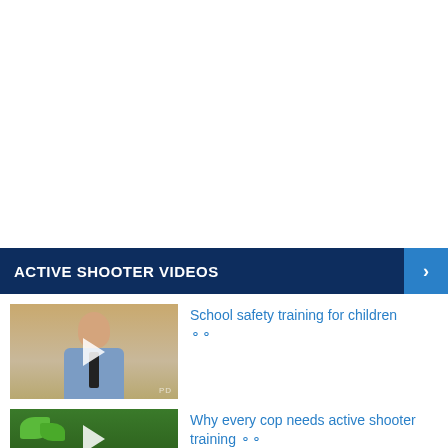ACTIVE SHOOTER VIDEOS
[Figure (photo): Video thumbnail showing a man in a blue shirt and tie against a beige wall, with a white play button overlay]
School safety training for children ⛐
[Figure (photo): Video thumbnail showing a dark background with green foliage, with a play button overlay]
Why every cop needs active shooter training ⛐